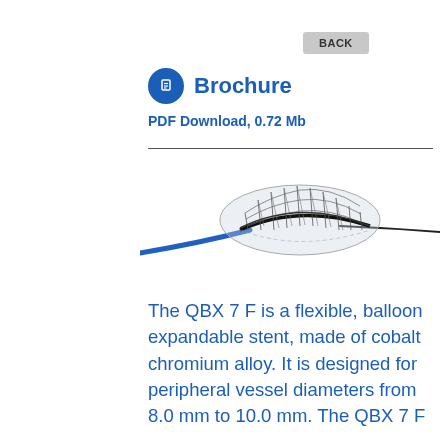BACK
Brochure
PDF Download, 0.72 Mb
[Figure (illustration): QBX 7 F balloon expandable stent on delivery catheter — a cylindrical mesh stent shown mounted on a curved delivery system with a blue guidewire catheter on the left and a thin black guidewire on the right.]
The QBX 7 F is a flexible, balloon expandable stent, made of cobalt chromium alloy. It is designed for peripheral vessel diameters from 8.0 mm to 10.0 mm. The QBX 7 F